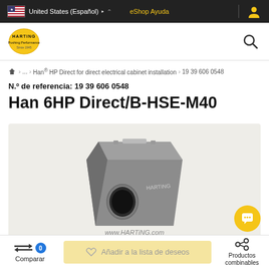United States (Español) | eShop Ayuda
[Figure (logo): HARTING logo with yellow oval and text 'Pushing Performance Since 1945']
Han® HP Direct for direct electrical cabinet installation > 19 39 606 0548
N.º de referencia: 19 39 606 0548
Han 6HP Direct/B-HSE-M40
[Figure (photo): Product photo of Han 6HP Direct/B-HSE-M40 industrial electrical connector housing, grey metal, with circular cable entry port, viewed at angle. Watermark: www.HARTiNG.com]
Comparar
Añadir a la lista de deseos
Productos combinables